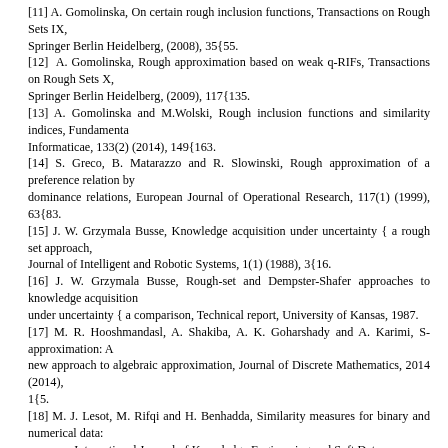[11] A. Gomolinska, On certain rough inclusion functions, Transactions on Rough Sets IX, Springer Berlin Heidelberg, (2008), 35{55.
[12] A. Gomolinska, Rough approximation based on weak q-RIFs, Transactions on Rough Sets X, Springer Berlin Heidelberg, (2009), 117{135.
[13] A. Gomolinska and M.Wolski, Rough inclusion functions and similarity indices, Fundamenta Informaticae, 133(2) (2014), 149{163.
[14] S. Greco, B. Matarazzo and R. Slowinski, Rough approximation of a preference relation by dominance relations, European Journal of Operational Research, 117(1) (1999), 63{83.
[15] J. W. Grzymala Busse, Knowledge acquisition under uncertainty { a rough set approach, Journal of Intelligent and Robotic Systems, 1(1) (1988), 3{16.
[16] J. W. Grzymala Busse, Rough-set and Dempster-Shafer approaches to knowledge acquisition under uncertainty { a comparison, Technical report, University of Kansas, 1987.
[17] M. R. Hooshmandasl, A. Shakiba, A. K. Goharshady and A. Karimi, S-approximation: A new approach to algebraic approximation, Journal of Discrete Mathematics, 2014 (2014), 1{5.
[18] M. J. Lesot, M. Rifqi and H. Benhadda, Similarity measures for binary and numerical data: a survey, International Journal of Knowledge Engineering and Soft Data Paradigms, 1(1),